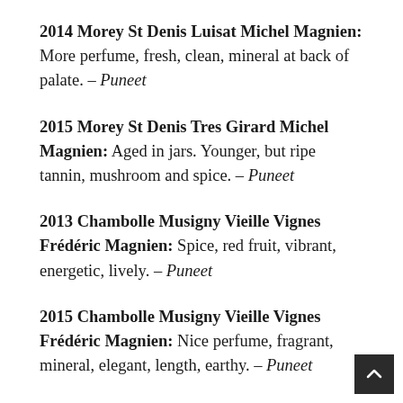2014 Morey St Denis Luisat Michel Magnien: More perfume, fresh, clean, mineral at back of palate. – Puneet
2015 Morey St Denis Tres Girard Michel Magnien: Aged in jars. Younger, but ripe tannin, mushroom and spice. – Puneet
2013 Chambolle Musigny Vieille Vignes Frédéric Magnien: Spice, red fruit, vibrant, energetic, lively. – Puneet
2015 Chambolle Musigny Vieille Vignes Frédéric Magnien: Nice perfume, fragrant, mineral, elegant, length, earthy. – Puneet
2013 Chambolle Musigny 1er Cru Charmes